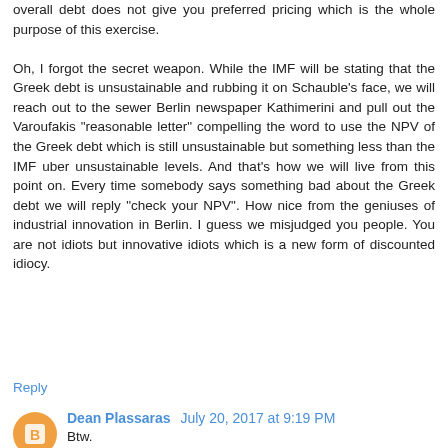overall debt does not give you preferred pricing which is the whole purpose of this exercise.

Oh, I forgot the secret weapon. While the IMF will be stating that the Greek debt is unsustainable and rubbing it on Schauble's face, we will reach out to the sewer Berlin newspaper Kathimerini and pull out the Varoufakis "reasonable letter" compelling the word to use the NPV of the Greek debt which is still unsustainable but something less than the IMF uber unsustainable levels. And that's how we will live from this point on. Every time somebody says something bad about the Greek debt we will reply "check your NPV". How nice from the geniuses of industrial innovation in Berlin. I guess we misjudged you people. You are not idiots but innovative idiots which is a new form of discounted idiocy.
Reply
Dean Plassaras  July 20, 2017 at 9:19 PM
Btw.